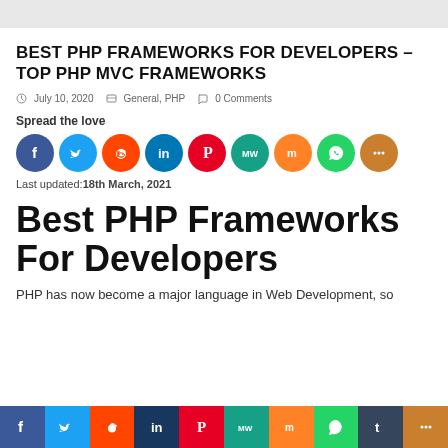BEST PHP FRAMEWORKS FOR DEVELOPERS – TOP PHP MVC FRAMEWORKS
July 10, 2020   General, PHP   0 Comments
Spread the love
[Figure (infographic): Row of social media share buttons: Facebook (blue), Twitter (light blue), Reddit (orange-red), LinkedIn (blue), Pinterest (red), MeWe (teal), Mix (orange), WhatsApp (green), More/Share (orange-brown)]
Last updated:18th March, 2021
Best PHP Frameworks For Developers
PHP has now become a major language in Web Development, so
[Figure (infographic): Bottom social share bar with icons: Facebook (dark blue), Twitter (blue), Reddit (orange-red), LinkedIn (dark blue), Pinterest (red), MeWe (teal), Mix (orange), WhatsApp (green), Tumblr (dark blue), More (orange)]